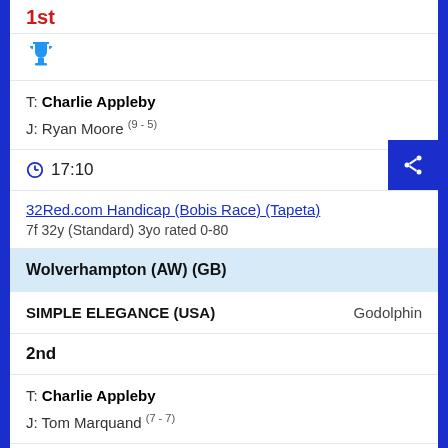1st
[Figure (illustration): Blue trophy icon]
T: Charlie Appleby
J: Ryan Moore (9-5)
17:10
32Red.com Handicap (Bobis Race) (Tapeta)
7f 32y (Standard) 3yo rated 0-80
Wolverhampton (AW) (GB)
SIMPLE ELEGANCE (USA)    Godolphin
2nd
T: Charlie Appleby
J: Tom Marquand (7-7)
17:45